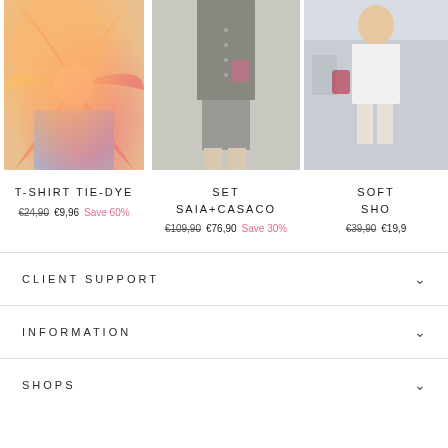[Figure (photo): T-shirt tie-dye product photo - colorful orange and pink swirl pattern top with light blue denim shorts]
T-SHIRT TIE-DYE
€24,90 €9,96 Save 60%
[Figure (photo): Set saia+casaco product photo - grey double-breasted coat/jacket with skirt set]
SET SAIA+CASACO
€109,90 €76,90 Save 30%
[Figure (photo): Soft shorts product photo - partially visible, white outfit]
SOFT SHO
€39,90 €19,9
CLIENT SUPPORT
INFORMATION
SHOPS